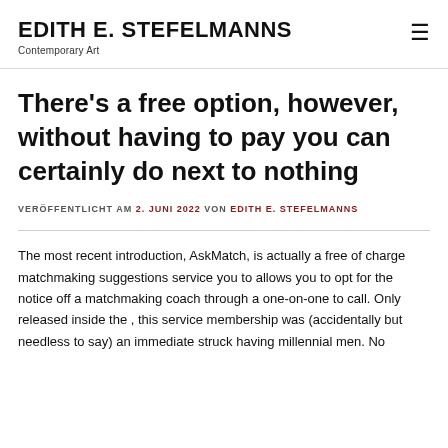EDITH E. STEFELMANNS
Contemporary Art
There's a free option, however, without having to pay you can certainly do next to nothing
VERÖFFENTLICHT AM 2. JUNI 2022 VON EDITH E. STEFELMANNS
The most recent introduction, AskMatch, is actually a free of charge matchmaking suggestions service you to allows you to opt for the notice off a matchmaking coach through a one-on-one to call. Only released inside the , this service membership was (accidentally but needless to say) an immediate struck having millennial men. No